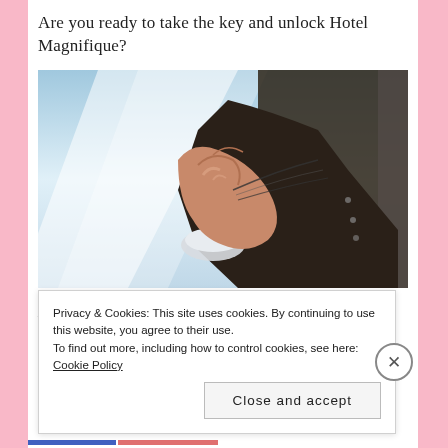Are you ready to take the key and unlock Hotel Magnifique?
[Figure (illustration): Anime-style illustration of a hand gripping something, wearing a dark suit jacket with a white shirt cuff visible. Background is blurred blue and white tones.]
Happy Reading!!!!!!
Privacy & Cookies: This site uses cookies. By continuing to use this website, you agree to their use.
To find out more, including how to control cookies, see here: Cookie Policy
Close and accept